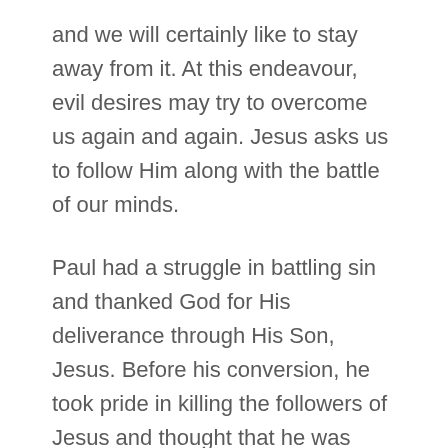and we will certainly like to stay away from it. At this endeavour, evil desires may try to overcome us again and again. Jesus asks us to follow Him along with the battle of our minds.
Paul had a struggle in battling sin and thanked God for His deliverance through His Son, Jesus. Before his conversion, he took pride in killing the followers of Jesus and thought that he was fulfilling his duty. But after meeting Jesus, Paul was zealous for the Living God, and at times he was tempted to show his anger against those who oppose the Gospel. He sincerely pleaded with God to show His mercy in this area of his life. The transparent lifestyle of Paul influenced the lives of many gentiles, and they accepted Jesus